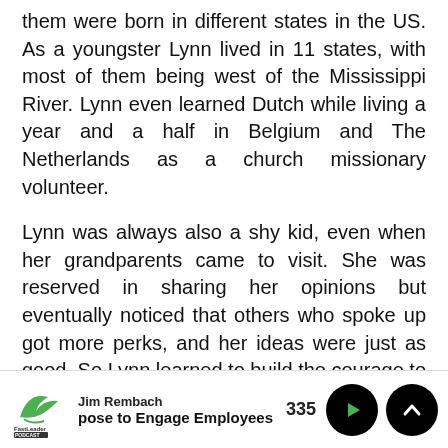them were born in different states in the US. As a youngster Lynn lived in 11 states, with most of them being west of the Mississippi River. Lynn even learned Dutch while living a year and a half in Belgium and The Netherlands as a church missionary volunteer.
Lynn was always also a shy kid, even when her grandparents came to visit. She was reserved in sharing her opinions but eventually noticed that others who spoke up got more perks, and her ideas were just as good. So Lynn learned to build the courage to speak up, and found herself moving up quickly.
Jim Rembach | Fast Leader PODCAST | pose to Engage Employees | 335